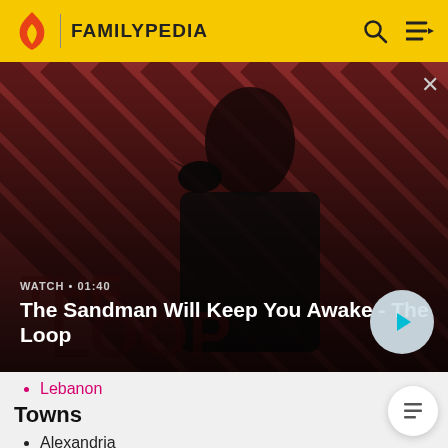FAMILYPEDIA
[Figure (screenshot): Hero banner showing a dark-robed figure with a raven on shoulder against a red and dark striped background. Text overlay: 'WATCH • 01:40' and title 'The Sandman Will Keep You Awake - The Loop' with a play button.]
Lebanon
Towns
Alexandria
Ashland
Bath